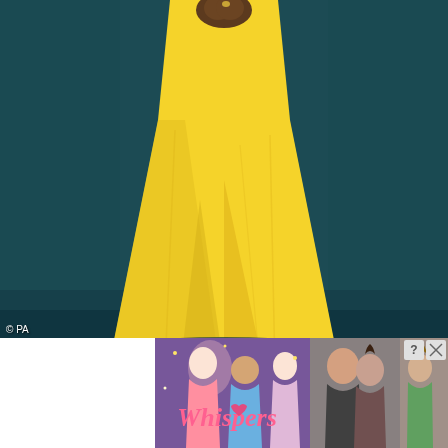[Figure (photo): A person wearing a bright yellow long gown with a slit, standing in front of a teal/dark background with decorative wall panels. The lower portion of the figure is visible, showing the flowing yellow dress and clasped hands at the waist.]
© PA
[Figure (illustration): Advertisement banner for 'Whispers' app/game showing animated romantic scenes with couples. The banner includes the 'Whispers' logo in pink/orange script text, and shows multiple illustrated romantic vignettes. Top right corner has a close button (X) and question mark icon.]